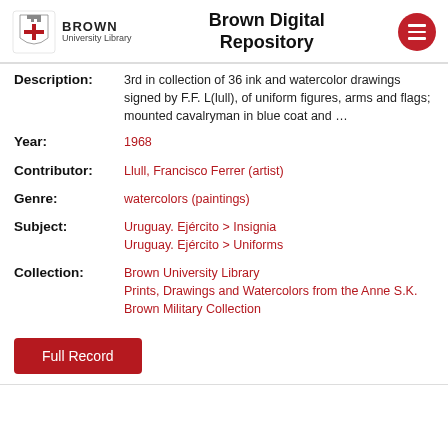Brown Digital Repository
Description: 3rd in collection of 36 ink and watercolor drawings signed by F.F. L(lull), of uniform figures, arms and flags; mounted cavalryman in blue coat and …
Year: 1968
Contributor: Llull, Francisco Ferrer (artist)
Genre: watercolors (paintings)
Subject: Uruguay. Ejército > Insignia
Uruguay. Ejército > Uniforms
Collection: Brown University Library
Prints, Drawings and Watercolors from the Anne S.K. Brown Military Collection
Full Record